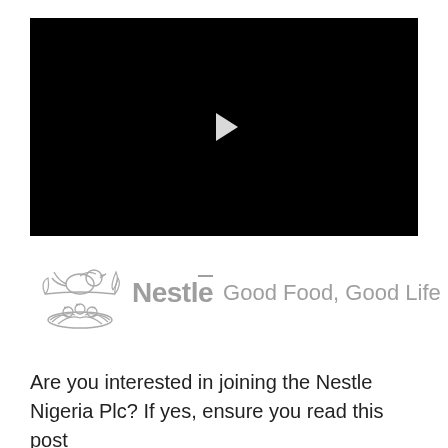[Figure (screenshot): Black video player with white play button triangle in center]
[Figure (logo): Nestlé logo with bird nest illustration and text 'Nestlé Good Food, Good Life' in grey]
Are you interested in joining the Nestle Nigeria Plc? If yes, ensure you read this post